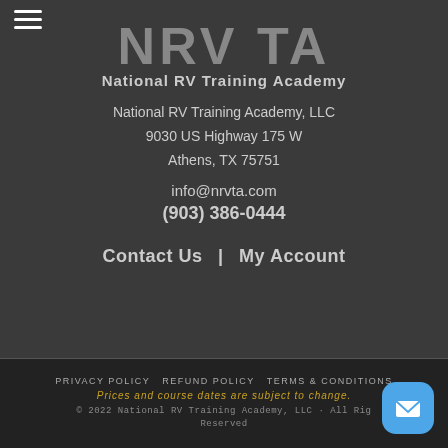[Figure (logo): NRVTA - National RV Training Academy logo with large grey NRVTA text and subtitle]
National RV Training Academy, LLC
9030 US Highway 175 W
Athens, TX 75751
info@nrvta.com
(903) 386-0444
Contact Us  |  My Account
PRIVACY POLICY   REFUND POLICY   TERMS & CONDITIONS
Prices and course dates are subject to change.
© 2022 National RV Training Academy, LLC · All Rights Reserved